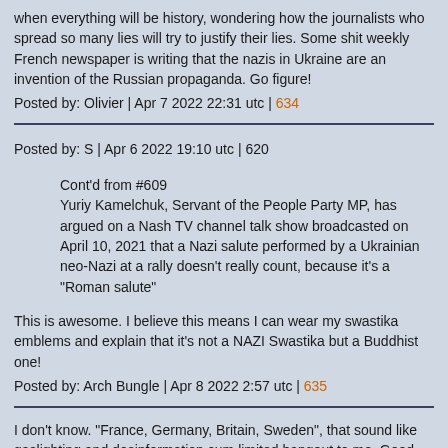when everything will be history, wondering how the journalists who spread so many lies will try to justify their lies. Some shit weekly French newspaper is writing that the nazis in Ukraine are an invention of the Russian propaganda. Go figure!
Posted by: Olivier | Apr 7 2022 22:31 utc | 634
Posted by: S | Apr 6 2022 19:10 utc | 620
Cont'd from #609
Yuriy Kamelchuk, Servant of the People Party MP, has argued on a Nash TV channel talk show broadcasted on April 10, 2021 that a Nazi salute performed by a Ukrainian neo-Nazi at a rally doesn't really count, because it's a "Roman salute"
This is awesome. I believe this means I can wear my swastika emblems and explain that it's not a NAZI Swastika but a Buddhist one!
Posted by: Arch Bungle | Apr 8 2022 2:57 utc | 635
I don't know. "France, Germany, Britain, Sweden", that sound like gaslighting and desinformation cum limited hangout to me. Good old allies screwing up.